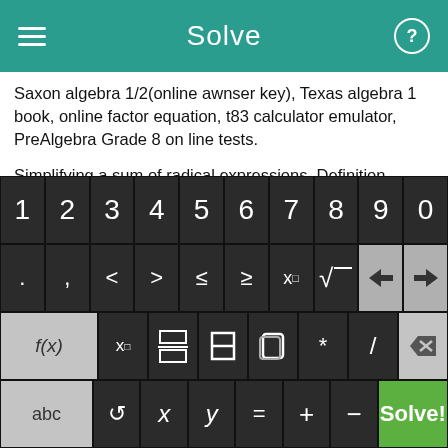Solve
Saxon algebra 1/2(online awnser key), Texas algebra 1 book, online factor equation, t83 calculator emulator, PreAlgebra Grade 8 on line tests.
Simplifying a sum of radical expressions, Definition Equations solver, prentice hall mathematics algebra 2 answers, algebra II homework lesson probability, LCM computer calculator.
How do you find the cubed root on a scientific calculator, math worksheets finder, adding and subtracting integers problems,
[Figure (screenshot): Mobile math keyboard with three rows: digits 1-9 and 0; symbols (dot, comma, less-than, greater-than, less-or-equal, greater-or-equal, x-squared, square-root, back-arrow, forward-arrow); function row (f(x), x subscript, fraction, absolute value, parenthesized square, multiply, divide, delete); bottom row (abc, undo, x, y, equals, plus, minus, Solve! in green).]